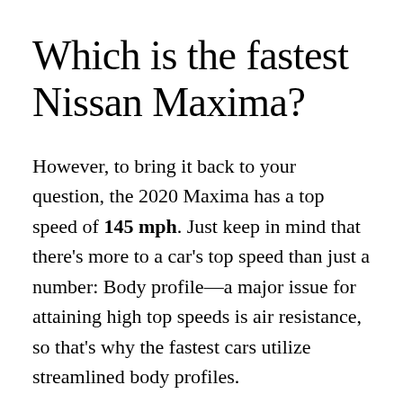Which is the fastest Nissan Maxima?
However, to bring it back to your question, the 2020 Maxima has a top speed of 145 mph. Just keep in mind that there's more to a car's top speed than just a number: Body profile—a major issue for attaining high top speeds is air resistance, so that's why the fastest cars utilize streamlined body profiles.
How much is a 1993 Nissan 300ZX?